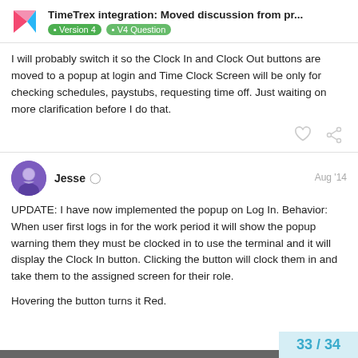TimeTrex integration: Moved discussion from pr... | Version 4 | V4 Question
I will probably switch it so the Clock In and Clock Out buttons are moved to a popup at login and Time Clock Screen will be only for checking schedules, paystubs, requesting time off. Just waiting on more clarification before I do that.
Jesse ◯ | Aug '14
UPDATE: I have now implemented the popup on Log In. Behavior: When user first logs in for the work period it will show the popup warning them they must be clocked in to use the terminal and it will display the Clock In button. Clicking the button will clock them in and take them to the assigned screen for their role.

Hovering the button turns it Red.
33 / 34